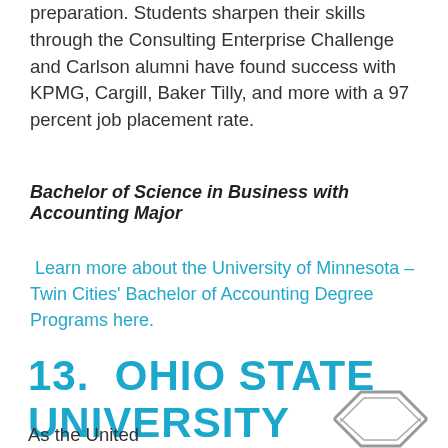preparation. Students sharpen their skills through the Consulting Enterprise Challenge and Carlson alumni have found success with KPMG, Cargill, Baker Tilly, and more with a 97 percent job placement rate.
Bachelor of Science in Business with Accounting Major
Learn more about the University of Minnesota – Twin Cities' Bachelor of Accounting Degree Programs here.
13. OHIO STATE UNIVERSITY
As the United
[Figure (logo): Ohio State University logo/seal partial view at bottom right]